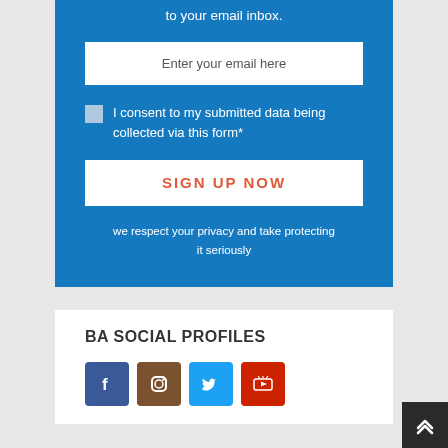to your email inbox.
Enter your email here
I consent to my submitted data being collected via this form*
SIGN UP NOW
we respect your privacy and take protecting it seriously
BA SOCIAL PROFILES
[Figure (other): Social media icons: Facebook (blue), Instagram (brown), Twitter (light blue), YouTube (red)]